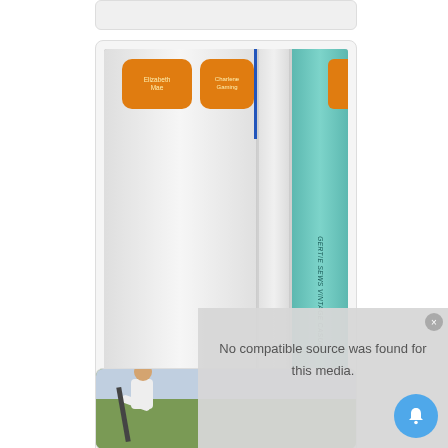[Figure (photo): Top of a card partially visible at the top of the page]
[Figure (photo): Photo of sewing pattern binders/folders with orange label tabs, a blue pen, and a teal book spine with text. A 'visit link' button appears at the bottom of the image.]
visit link
13. The Best Ever Quick and Easy Sewing Pattern Storage and Organization Idea
[Figure (photo): Photo of a person gardening, bending over with a tool in a garden area]
[Figure (screenshot): Overlay panel with text: No compatible source was found for this media. with a close button in the top right corner.]
No compatible source was found for this media.